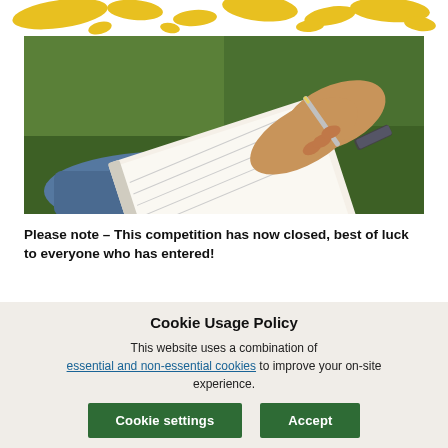[Figure (illustration): Yellow paint splash / splatter decorative header element]
[Figure (photo): Photo of a person sitting on grass writing in a notebook with a pen, wearing jeans and a bracelet]
Please note – This competition has now closed, best of luck to everyone who has entered!
Cookie Usage Policy
This website uses a combination of essential and non-essential cookies to improve your on-site experience.